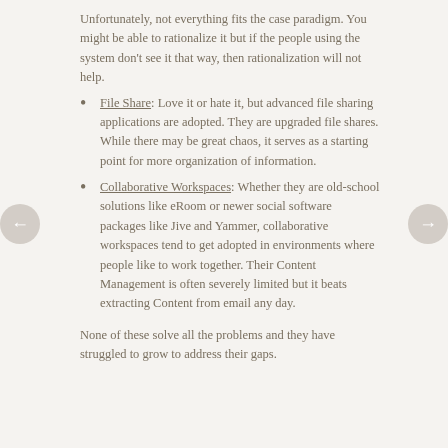Unfortunately, not everything fits the case paradigm. You might be able to rationalize it but if the people using the system don't see it that way, then rationalization will not help.
File Share: Love it or hate it, but advanced file sharing applications are adopted. They are upgraded file shares. While there may be great chaos, it serves as a starting point for more organization of information.
Collaborative Workspaces: Whether they are old-school solutions like eRoom or newer social software packages like Jive and Yammer, collaborative workspaces tend to get adopted in environments where people like to work together. Their Content Management is often severely limited but it beats extracting Content from email any day.
None of these solve all the problems and they have struggled to grow to address their gaps.